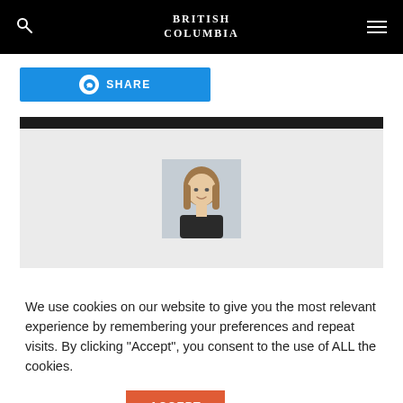British Columbia
[Figure (screenshot): Blue share button with messenger icon and SHARE text]
[Figure (photo): Headshot photo of a woman with light brown hair wearing a black top, against a light grey background, centered in a grey panel with a black top bar]
We use cookies on our website to give you the most relevant experience by remembering your preferences and repeat visits. By clicking “Accept”, you consent to the use of ALL the cookies.
Cookie settings   ACCEPT